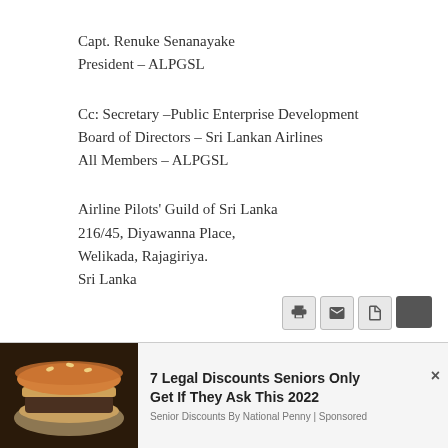Capt. Renuke Senanayake
President – ALPGSL
Cc: Secretary –Public Enterprise Development
Board of Directors – Sri Lankan Airlines
All Members – ALPGSL
Airline Pilots' Guild of Sri Lanka
216/45, Diyawanna Place,
Welikada, Rajagiriya.
Sri Lanka
[Figure (screenshot): Advertisement overlay at the bottom of the page showing a burger image and text '7 Legal Discounts Seniors Only Get If They Ask This 2022' sponsored by Senior Discounts By National Penny, with toolbar icons (print, email, PDF) and a close button.]